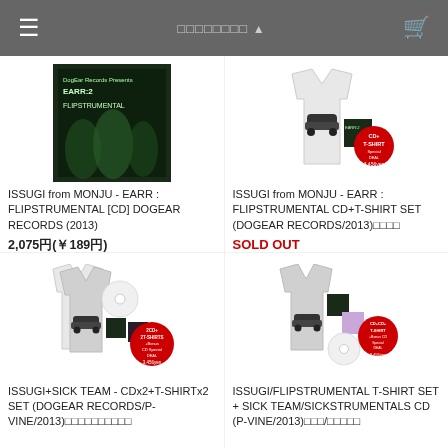□□□□□□□□ ^
[Figure (photo): Album cover for EARR: FLIPSTRUMENTAL - dark green toned album art with text 'DogEar Records Presents EARR:2 FLIPSTRUMENTAL']
ISSUGI from MONJU - EARR : FLIPSTRUMENTAL [CD] DOGEAR RECORDS (2013)
2,075円(￥189円)
[Figure (photo): Product bundle showing white t-shirt with car graphic, album cover, and CD+T-SHIRT Special DEAL sticker badge]
ISSUGI from MONJU - EARR : FLIPSTRUMENTAL CD+T-SHIRT SET (DOGEAR RECORDS/2013)□□□□
SOLD OUT
[Figure (photo): Product bundle showing 2CD+2T-SHIRTs+Bonus CD deal with multiple t-shirts and album covers]
ISSUGI+SICK TEAM - CDx2+T-SHIRTx2 SET (DOGEAR RECORDS/P-VINE/2013)□□□□□□□□□□
[Figure (photo): Product bundle showing CD+CD+T-SHIRT+Bonus CD deal with t-shirt and album covers]
ISSUGI/FLIPSTRUMENTAL T-SHIRT SET + SICK TEAM/SICKSTRUMENTALS CD (P-VINE/2013)□□□/□□□□□